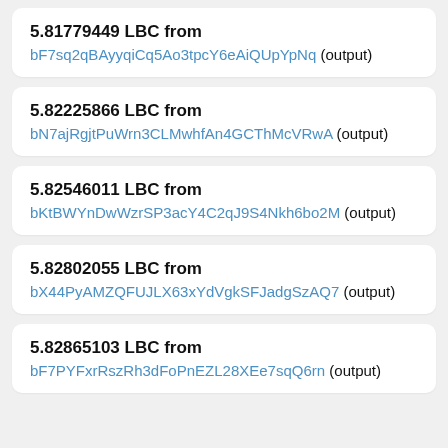5.81779449 LBC from bF7sq2qBAyyqiCq5Ao3tpcY6eAiQUpYpNq (output)
5.82225866 LBC from bN7ajRgjtPuWrn3CLMwhfAn4GCThMcVRwA (output)
5.82546011 LBC from bKtBWYnDwWzrSP3acY4C2qJ9S4Nkh6bo2M (output)
5.82802055 LBC from bX44PyAMZQFUJLX63xYdVgkSFJadgSzAQ7 (output)
5.82865103 LBC from bF7PYFxrRszRh3dFoPnEZL28XEe7sqQ6rn (output)